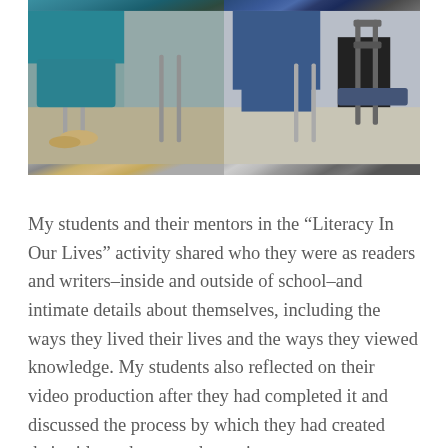[Figure (photo): Photograph showing students and mentors seated in chairs in a classroom setting, split into two panels side by side showing feet and lower bodies of seated people]
My students and their mentors in the “Literacy In Our Lives” activity shared who they were as readers and writers–inside and outside of school–and intimate details about themselves, including the ways they lived their lives and the ways they viewed knowledge. My students also reflected on their video production after they had completed it and discussed the process by which they had created their videos, the ways the project